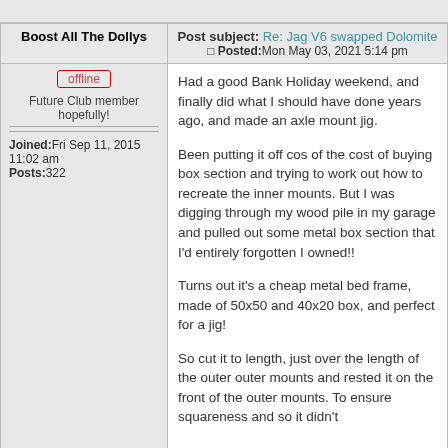Boost All The Dollys | Post subject: Re: Jag V6 swapped Dolomite | Posted: Mon May 03, 2021 5:14 pm
offline
Future Club member hopefully!
Joined: Fri Sep 11, 2015 11:02 am
Posts: 322
Had a good Bank Holiday weekend, and finally did what I should have done years ago, and made an axle mount jig.

Been putting it off cos of the cost of buying box section and trying to work out how to recreate the inner mounts. But I was digging through my wood pile in my garage and pulled out some metal box section that I'd entirely forgotten I owned!!

Turns out it's a cheap metal bed frame, made of 50x50 and 40x20 box, and perfect for a jig!

So cut it to length, just over the length of the outer outer mounts and rested it on the front of the outer mounts. To ensure squareness and so it didn't